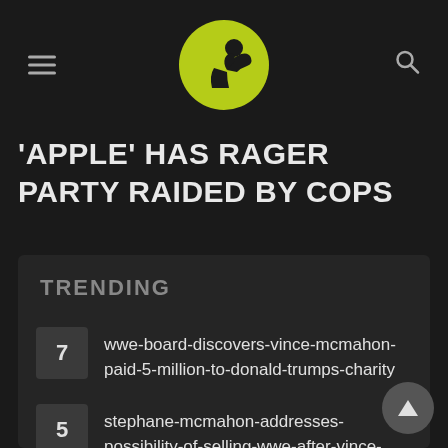Navigation header with hamburger menu, logo, and search icon
'APPLE' HAS RAGER PARTY RAIDED BY COPS
TRENDING
7 wwe-board-discovers-vince-mcmahon-paid-5-million-to-donald-trumps-charity
5 stephane-mcmahon-addresses-possibility-of-selling-wwe-after-vince-mcmahons-retirement